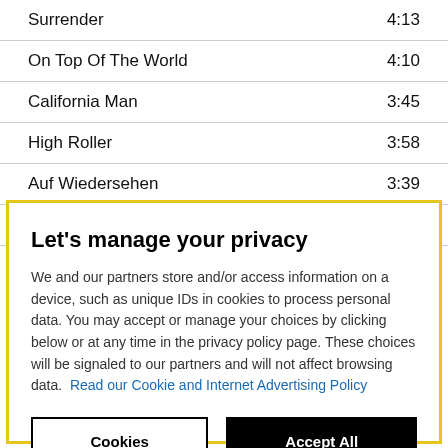| Track | Duration |
| --- | --- |
| Surrender | 4:13 |
| On Top Of The World | 4:10 |
| California Man | 3:45 |
| High Roller | 3:58 |
| Auf Wiedersehen | 3:39 |
| Takin Me Back | 4:50 |
| On The Radio | 4:32 |
Let's manage your privacy
We and our partners store and/or access information on a device, such as unique IDs in cookies to process personal data. You may accept or manage your choices by clicking below or at any time in the privacy policy page. These choices will be signaled to our partners and will not affect browsing data. Read our Cookie and Internet Advertising Policy
Cookies Settings | Accept All Cookies